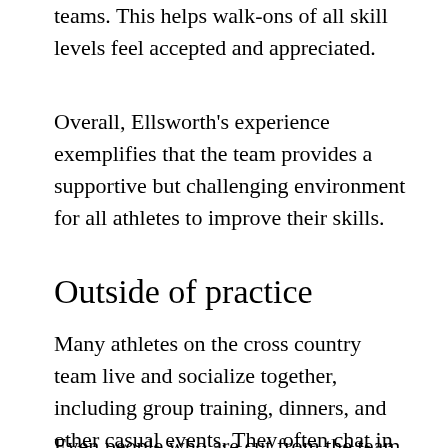teams. This helps walk-ons of all skill levels feel accepted and appreciated.
Overall, Ellsworth's experience exemplifies that the team provides a supportive but challenging environment for all athletes to improve their skills.
Outside of practice
Many athletes on the cross country team live and socialize together, including group training, dinners, and other casual events. They often chat in the locker room or get lunch between classes.
Even people who are cut from the team or quit